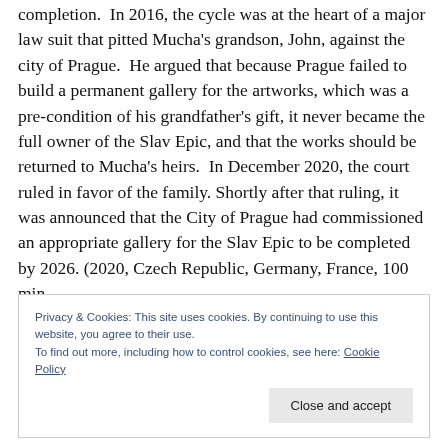completion.  In 2016, the cycle was at the heart of a major law suit that pitted Mucha's grandson, John, against the city of Prague.  He argued that because Prague failed to build a permanent gallery for the artworks, which was a pre-condition of his grandfather's gift, it never became the full owner of the Slav Epic, and that the works should be returned to Mucha's heirs.  In December 2020, the court ruled in favor of the family. Shortly after that ruling, it was announced that the City of Prague had commissioned an appropriate gallery for the Slav Epic to be completed by 2026. (2020, Czech Republic, Germany, France, 100 min,
Privacy & Cookies: This site uses cookies. By continuing to use this website, you agree to their use.
To find out more, including how to control cookies, see here: Cookie Policy